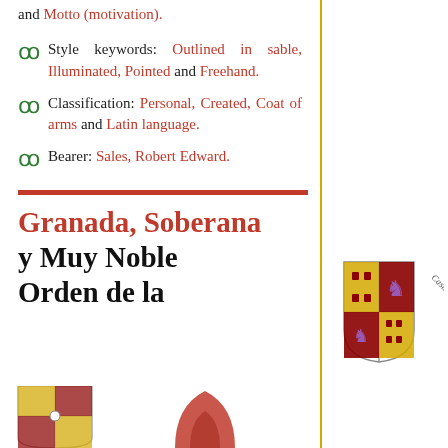and Motto (motivation).
Style keywords: Outlined in sable, Illuminated, Pointed and Freehand.
Classification: Personal, Created, Coat of arms and Latin language.
Bearer: Sales, Robert Edward.
[Figure (illustration): Coat of arms shield with heraldic design, labeled 'Castellano']
Granada, Soberana y Muy Noble Orden de la
[Figure (illustration): Partial heraldic coat of arms at bottom]
[Figure (illustration): Partial red heraldic figure at bottom right]